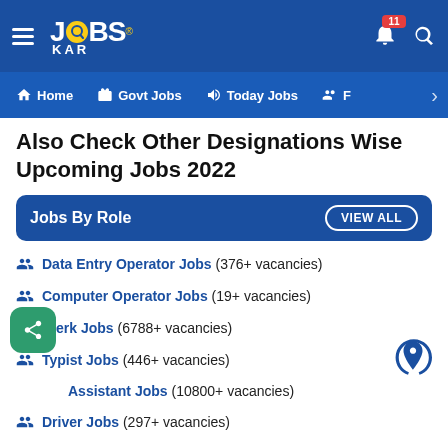[Figure (screenshot): JobsKar app header with logo, hamburger menu, notification bell with badge 11, and search icon on dark blue background]
Home | Govt Jobs | Today Jobs | F >
Also Check Other Designations Wise Upcoming Jobs 2022
Jobs By Role  VIEW ALL
Data Entry Operator Jobs (376+ vacancies)
Computer Operator Jobs (19+ vacancies)
Clerk Jobs (6788+ vacancies)
Typist Jobs (446+ vacancies)
Assistant Jobs (10800+ vacancies)
Driver Jobs (297+ vacancies)